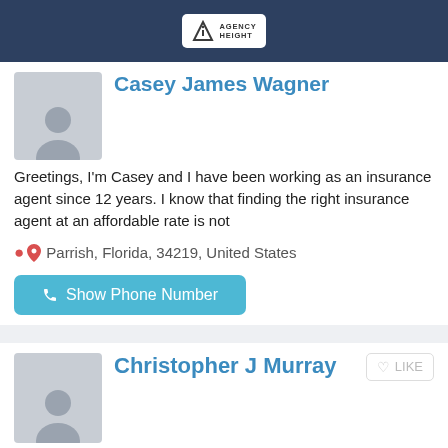Agency Height
Casey James Wagner
Greetings, I'm Casey and I have been working as an insurance agent since 12 years. I know that finding the right insurance agent at an affordable rate is not
Parrish, Florida, 34219, United States
Show Phone Number
Christopher J Murray
I am Christopher, a licensed insurance agent who prioritizes answering clients' questions and understanding their coverage requirements. I feel it's essential
Parrish, Florida, 34219, United States
Show Phone Number